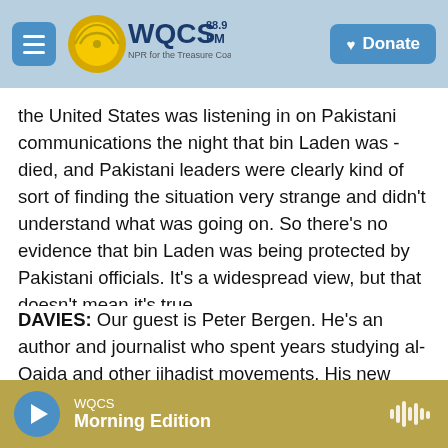WQCS 88.9 FM – NPR for the Treasure Coast
the United States was listening in on Pakistani communications the night that bin Laden was - died, and Pakistani leaders were clearly kind of sort of finding the situation very strange and didn't understand what was going on. So there's no evidence that bin Laden was being protected by Pakistani officials. It's a widespread view, but that doesn't mean it's true.
DAVIES: Our guest is Peter Bergen. He's an author and journalist who spent years studying al-Qaida and other jihadist movements. His new book is "The Rise And Fall Of Osama Bin Laden." We'll talk
WQCS Morning Edition